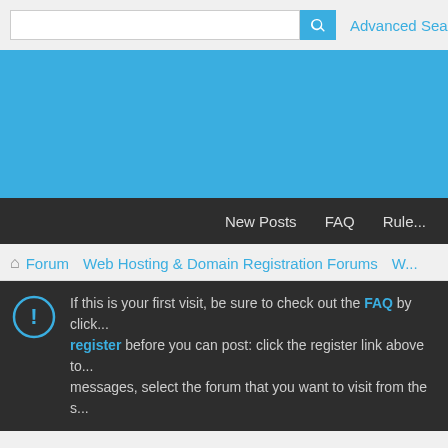Search bar with Advanced Search link
[Figure (screenshot): Blue banner/advertisement area]
New Posts  FAQ  Rule...
Forum  Web Hosting & Domain Registration Forums  W...
If this is your first visit, be sure to check out the FAQ by click... register before you can post: click the register link above to... messages, select the forum that you want to visit from the s...
Forum: Web Hosting
Discussion about Web Hosting related issues, tips, providers etc...